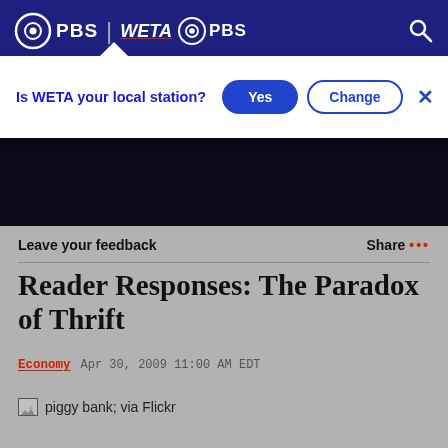PBS | WETA PBS
Is WETA your local station? Yes  Change
Leave your feedback   Share ...
Reader Responses: The Paradox of Thrift
Economy   Apr 30, 2009 11:00 AM EDT
[Figure (photo): Broken image placeholder with alt text: piggy bank; via Flickr]